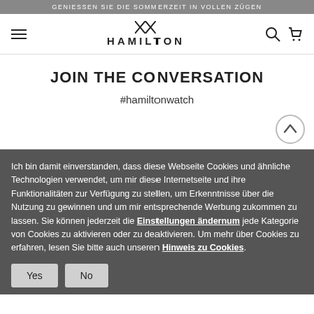GENIESSEN SIE DIE SOMMERZEIT IN VOLLEN ZÜGEN
[Figure (logo): Hamilton watch brand logo with star symbol and hamburger menu, search and cart icons in navigation bar]
JOIN THE CONVERSATION
#hamiltonwatch
Ich bin damit einverstanden, dass diese Webseite Cookies und ähnliche Technologien verwendet, um mir diese Internetseite und ihre Funktionalitäten zur Verfügung zu stellen, um Erkenntnisse über die Nutzung zu gewinnen und um mir entsprechende Werbung zukommen zu lassen. Sie können jederzeit die Einstellungen ändernum jede Kategorie von Cookies zu aktivieren oder zu deaktivieren. Um mehr über Cookies zu erfahren, lesen Sie bitte auch unseren Hinweis zu Cookies.